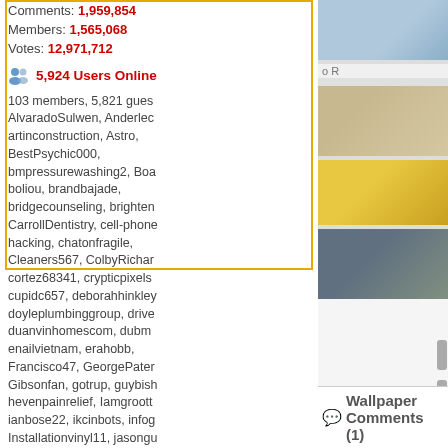Comments: 1,959,854
Members: 1,565,068
Votes: 12,971,712
5,924 Users Online
103 members, 5,821 guests
AlvaradoSulwen, Anderlec, artinconstruction, Astro, BestPsychic000, bmpressurewashing2, Boa, boliou, brandbajade, bridgecounseling, brighten, CarrollDentistry, cell-phone, hacking, chatonfragile, Cleaners567, ColbyRichar, cortez68341, crypticpixels, cupidc657, deborahhinkley, doyleplumbinggroup, drive, duanvinhomescom, dubm, enailvietnam, erahobb, Francisco47, GeorgePater, Gibsonfan, gotrup, guybish, hevenpainrelief, Iamgroott, ianbose22, ikcinbots, infog, Installationvinyl11, jasongu, JokersStash, josephfirarae, jun8888, KayaXu8, khungnhomkinhvietphon..., kinggohan, Lalina, Lamam, leonbetappin, lertuiosq, lill, lirikmerch, maayash, macthanhvu, marquisbarkl, mayapatil281995, McKinn, mikepaxson, missshweta, mistydaydream1, mod.CG, modzoro, mumtazdental, now888today, phaenir777
Wallpaper Comments (1)